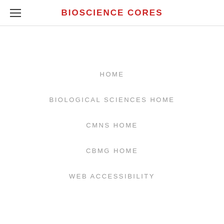BIOSCIENCE CORES
HOME
BIOLOGICAL SCIENCES HOME
CMNS HOME
CBMG HOME
WEB ACCESSIBILITY